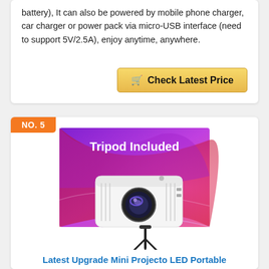battery), It can also be powered by mobile phone charger, car charger or power pack via micro-USB interface (need to support 5V/2.5A), enjoy anytime, anywhere.
[Figure (other): Golden 'Check Latest Price' button with shopping cart icon]
NO. 5
[Figure (photo): Mini LED projector with tripod included, shown against a colorful purple/pink/red swirl background with text 'Tripod Included', white compact projector body with a tripod stand in front]
Latest Upgrade Mini Projecto LED Portable